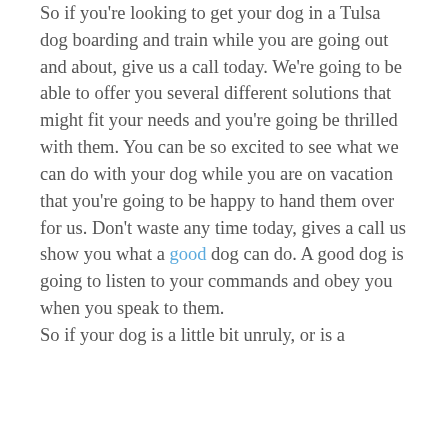So if you're looking to get your dog in a Tulsa dog boarding and train while you are going out and about, give us a call today. We're going to be able to offer you several different solutions that might fit your needs and you're going be thrilled with them. You can be so excited to see what we can do with your dog while you are on vacation that you're going to be happy to hand them over for us. Don't waste any time today, gives a call us show you what a good dog can do. A good dog is going to listen to your commands and obey you when you speak to them.
So if your dog is a little bit unruly, or is a